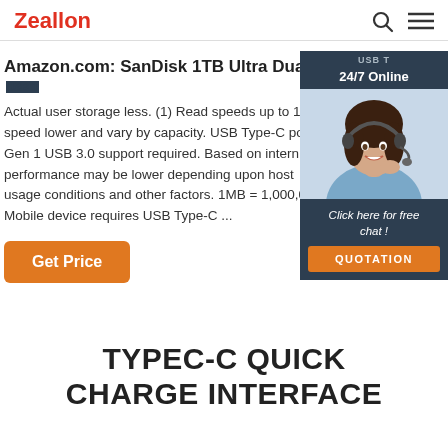Zeallon
Amazon.com: SanDisk 1TB Ultra Dual Drive l...
Actual user storage less. (1) Read speeds up to 15... speed lower and vary by capacity. USB Type-C po... Gen 1 USB 3.0 support required. Based on intern... performance may be lower depending upon host usage conditions and other factors. 1MB = 1,000,0... Mobile device requires USB Type-C ...
[Figure (photo): Chat widget with woman wearing headset, '24/7 Online' header, 'Click here for free chat!' text, and QUOTATION button]
Get Price
TYPEC-C QUICK CHARGE INTERFACE